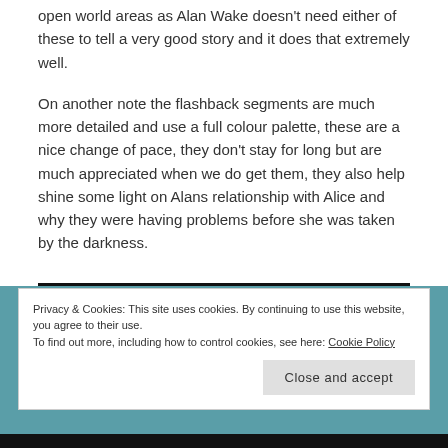open world areas as Alan Wake doesn't need either of these to tell a very good story and it does that extremely well.
On another note the flashback segments are much more detailed and use a full colour palette, these are a nice change of pace, they don't stay for long but are much appreciated when we do get them, they also help shine some light on Alans relationship with Alice and why they were having problems before she was taken by the darkness.
Privacy & Cookies: This site uses cookies. By continuing to use this website, you agree to their use.
To find out more, including how to control cookies, see here: Cookie Policy